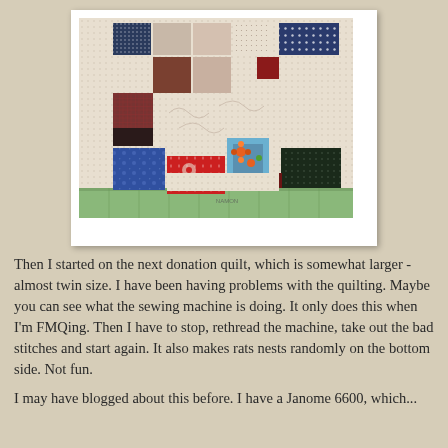[Figure (photo): A patchwork donation quilt with various fabric squares in red, dark blue, cream/white with polka dots, floral prints, and other patterns, laid out on a green cutting mat.]
Then I started on the next donation quilt, which is somewhat larger - almost twin size.  I have been having problems with the quilting.  Maybe you can see what the sewing machine is doing.  It only does this when I'm FMQing.  Then I have to stop, rethread the machine, take out the bad stitches and start again.  It also makes rats nests randomly on the bottom side.  Not fun.
I may have blogged about this before.  I have a Janome 6600, which...